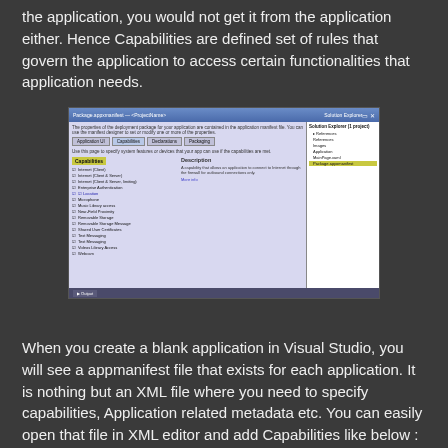the application, you would not get it from the application either. Hence Capabilities are defined set of rules that govern the application to access certain functionalities that application needs.
[Figure (screenshot): Screenshot of Visual Studio showing the Package.appxmanifest capabilities configuration panel on the left with a list of capabilities (Internet (Client), Internet (Client & Server), Private Networks, etc.) and a Description panel on the right. The Solution Explorer is visible on the right side with a project tree. Package Configurations item is highlighted in yellow.]
When you create a blank application in Visual Studio, you will see a appmanifest file that exists for each application. It is nothing but an XML file where you need to specify capabilities, Application related metadata etc. You can easily open that file in XML editor and add Capabilities like below :